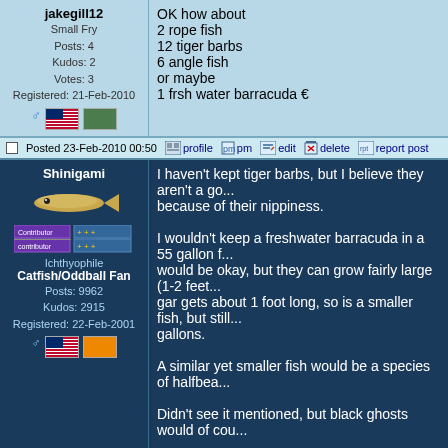jakegill12
Small Fry
Posts: 4
Kudos: 2
Votes: 3
Registered: 21-Feb-2010
OK how about
2 rope fish
12 tiger barbs
6 angle fish
or maybe
1 frsh water barracuda
Posted 23-Feb-2010 00:50  profile  pm  edit  delete  report post
Shinigami
Ichthyophile
Catfish/Oddball Fan
Posts: 9962
Kudos: 2915
Registered: 22-Feb-2001
I haven't kept tiger barbs, but I believe they aren't a go... because of their nippiness.

I wouldn't keep a freshwater barracuda in a 55 gallon f... would be okay, but they can grow fairly large (1-2 feet... gar gets about 1 foot long, so is a smaller fish, but still... gallons.

A similar yet smaller fish would be a species of halfbea...

Didn't see it mentioned, but black ghosts would of cou...

--------------------------------------------
The aquarist is one who must learn the ways of the bio...
Posted 23-Feb-2010 01:22  profile  pm  edit  delete  report post
Babelfish
Pretty sure shini is right with the tigerbarbs and angelfi...

If you want angels stick with tetras as schooling fish.